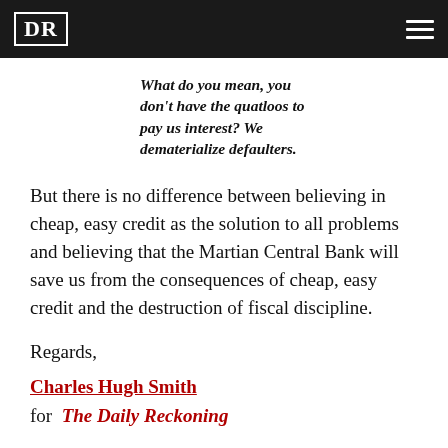DR
What do you mean, you don't have the quatloos to pay us interest? We dematerialize defaulters.
But there is no difference between believing in cheap, easy credit as the solution to all problems and believing that the Martian Central Bank will save us from the consequences of cheap, easy credit and the destruction of fiscal discipline.
Regards,
Charles Hugh Smith
for  The Daily Reckoning